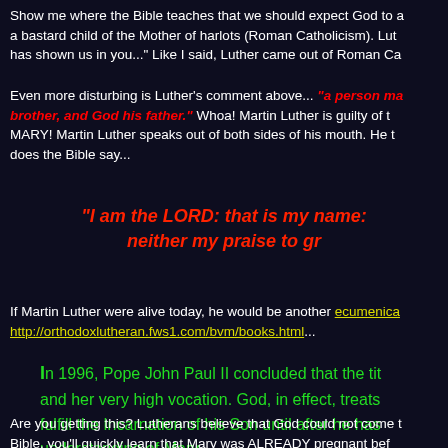Show me where the Bible teaches that we should expect God to a bastard child of the Mother of harlots (Roman Catholicism). Lut has shown us in you..." Like I said, Luther came out of Roman Ca
Even more disturbing is Luther's comment above... "a person ma brother, and God his father." Whoa! Martin Luther is guilty of t MARY! Martin Luther speaks out of both sides of his mouth. He t does the Bible say...
“I am the LORD: that is my name: neither my praise to gr
If Martin Luther were alive today, he would be another ecumenica http://orthodoxlutheran.fws1.com/bvm/books.html...
In 1996, Pope John Paul II concluded that the tit and her very high vocation. God, in effect, treats fulfill the Incarnation of his Son until after he has understanding of Mary.
Are you getting this? Lutherans believe that God could not come t Bible, you'll quickly learn that Mary was ALREADY pregnant bef